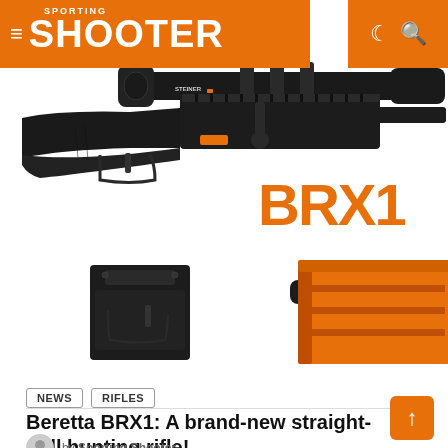SPORTING SHOOTER
[Figure (photo): Beretta BRX1 straight-pull hunting rifle shown assembled with Steiner scope on top, and disassembled components below including trigger group, bolt, and orange magazine. Large orange BRX1 logo overlaid on the image.]
NEWS
RIFLES
Beretta BRX1: A brand-new straight-pull hunting rifle!
by Sporting Shooter